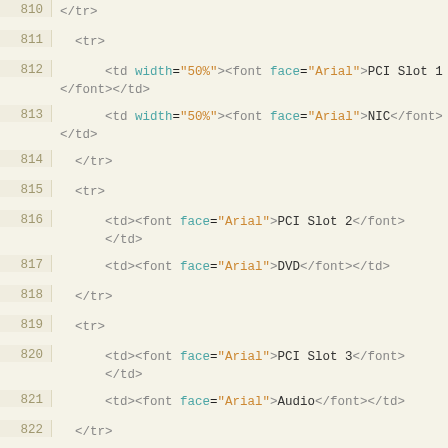[Figure (screenshot): Source code editor showing HTML table markup with line numbers 810-831. Lines show HTML tr and td elements with font tags containing PCI slot assignments including NIC, DVD, Audio, PCI modem, and TV Tuner values.]